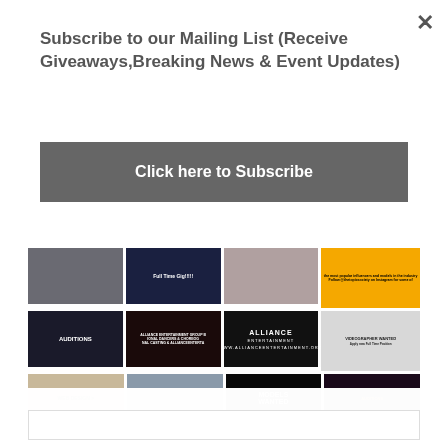[Figure (screenshot): Background webpage showing a grid of entertainment/casting/modeling related image thumbnails in a 4-column layout, with rows of images including auditions, web design, models wanted, videographer wanted, alliance entertainment, dancers, and other entertainment industry content.]
Subscribe to our Mailing List (Receive Giveaways,Breaking News & Event Updates)
Click here to Subscribe